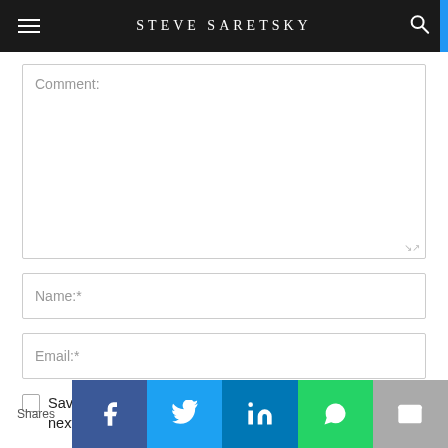STEVE SARETSKY
Comment:
Name:*
Email:*
Save my name, email, and website in this browser for the next time I comment.
Shares